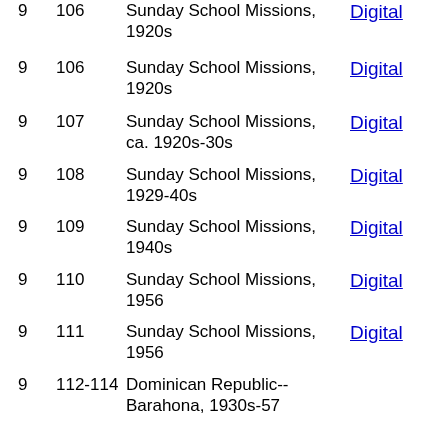9  106  Sunday School Missions, 1920s  Digital
9  106  Sunday School Missions, 1920s  Digital
9  107  Sunday School Missions, ca. 1920s-30s  Digital
9  108  Sunday School Missions, 1929-40s  Digital
9  109  Sunday School Missions, 1940s  Digital
9  110  Sunday School Missions, 1956  Digital
9  111  Sunday School Missions, 1956  Digital
9  112-114  Dominican Republic--Barahona, 1930s-57